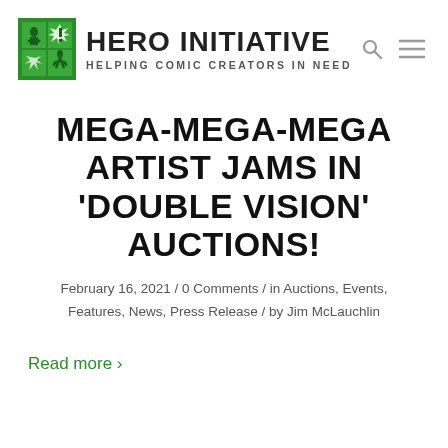HERO INITIATIVE – HELPING COMIC CREATORS IN NEED
MEGA-MEGA-MEGA ARTIST JAMS IN 'DOUBLE VISION' AUCTIONS!
February 16, 2021 / 0 Comments / in Auctions, Events, Features, News, Press Release / by Jim McLauchlin
Read more ›